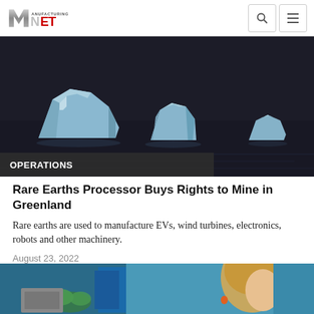Manufacturing.net
[Figure (photo): Icebergs floating on dark water, viewed from above]
OPERATIONS
Rare Earths Processor Buys Rights to Mine in Greenland
Rare earths are used to manufacture EVs, wind turbines, electronics, robots and other machinery.
August 23, 2022
[Figure (photo): Woman with blonde hair and orange earplug in an industrial or lab environment with blue equipment in the background]